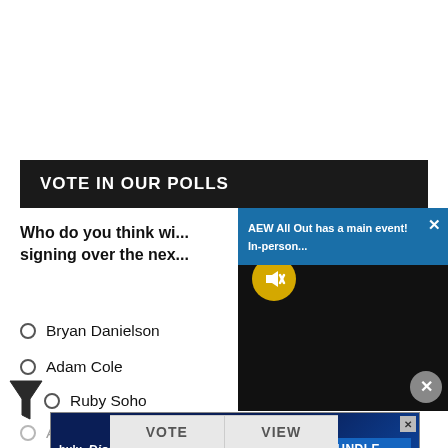VOTE IN OUR POLLS
Who do you think wi... signing over the nex...
Bryan Danielson
Adam Cole
Ruby Soho
Andrade El Idolo
AEW All Out has a main event! In-person...
[Figure (screenshot): Dark video player overlay with mute button]
[Figure (infographic): GET THE DISNEY BUNDLE ad showing Hulu, Disney+, ESPN+ logos. Incl. Hulu (ad-supported) or Hulu (No Ads). Access content from each service separately. ©2021 Disney and its related entities.]
VOTE
VIEW